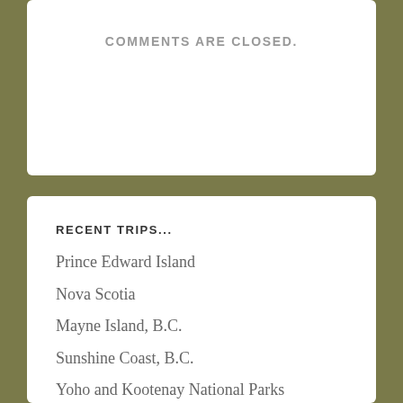COMMENTS ARE CLOSED.
RECENT TRIPS...
Prince Edward Island
Nova Scotia
Mayne Island, B.C.
Sunshine Coast, B.C.
Yoho and Kootenay National Parks
Portugal
England
Okanagan Wineries
Kauai and Maui